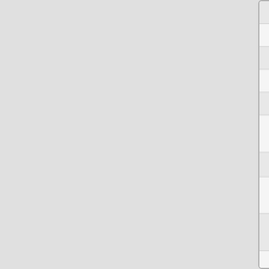| Code | Description |
| --- | --- |
| XBL |  |
| XBR |  |
| XS |  |
| Y |  |
| Y2 |  |
| YBX | Yesterday ended with a buy hours. Then, 75% |
| YH | Yesterday was a holiday. Trad |
| YODD | Yesterday was outside down day. That is ioi Break |
| YOUD | Yesterday was outside up day. That is ioi Breakou |
| YR |  |
| YSX | Yesterday ended with a sell o hours. Then, 75% |
| YTR |  |
| YTRD | Yesterday was a trading ra |